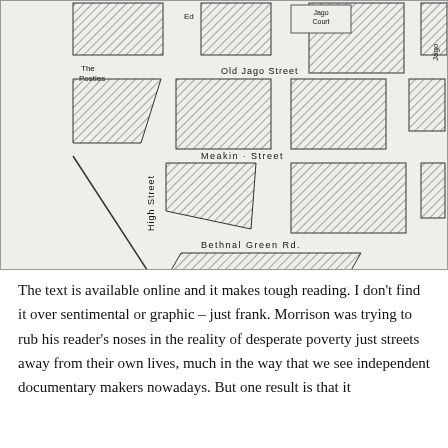[Figure (map): A sketch plan map of The Old Jago, showing a street grid with hatched building blocks. Streets labeled include Old Jago Street, Meakin Street, Bethnal Green Rd., High Street (vertical), and Jago Court. Buildings are shown with diagonal hatching. Title reads 'The Old Jago Sketch Plan'.]
The text is available online and it makes tough reading. I don't find it over sentimental or graphic – just frank. Morrison was trying to rub his reader's noses in the reality of desperate poverty just streets away from their own lives, much in the way that we see independent documentary makers nowadays. But one result is that it